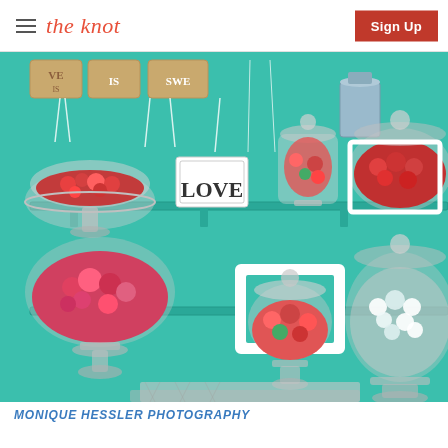☰ the knot | Sign Up
[Figure (photo): A teal/mint colored candy bar display shelf with multiple glass apothecary jars filled with red, pink, and white candies. A 'LOVE' sign sits on the middle shelf. A banner reading 'LOVE IS SWEET' hangs at the top. A white picture frame sits behind one of the candy jars. A decorative silver/white table runner or doily is spread on the bottom surface.]
MONIQUE HESSLER PHOTOGRAPHY